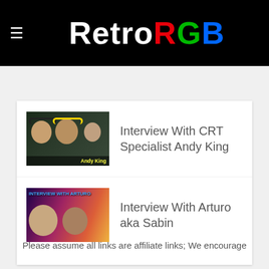RetroRGB
Console Info | Getting Started | RGB Guide | Advanced RGB Info | Ab...
[Figure (screenshot): Thumbnail image for Interview With CRT Specialist Andy King showing three people with headphones and yellow 'Andy King' label]
Interview With CRT Specialist Andy King
[Figure (screenshot): Thumbnail image for Interview With Arturo aka Sabin showing two men with colorful background and title 'Interview With Arturo']
Interview With Arturo aka Sabin
Please assume all links are affiliate links; We encourage